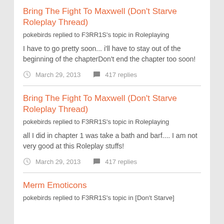Bring The Fight To Maxwell (Don't Starve Roleplay Thread)
pokebirds replied to F3RR1S's topic in Roleplaying
I have to go pretty soon... i'll have to stay out of the beginning of the chapterDon't end the chapter too soon!
March 29, 2013   417 replies
Bring The Fight To Maxwell (Don't Starve Roleplay Thread)
pokebirds replied to F3RR1S's topic in Roleplaying
all I did in chapter 1 was take a bath and barf.... I am not very good at this Roleplay stuffs!
March 29, 2013   417 replies
Merm Emoticons
pokebirds replied to F3RR1S's topic in [Don't Starve]